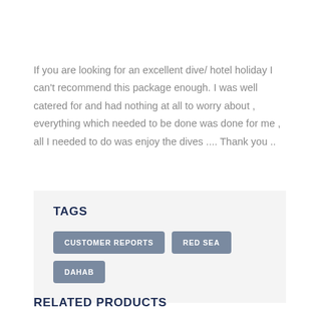If you are looking for an excellent dive/ hotel holiday I can't recommend this package enough. I was well catered for and had nothing at all to worry about , everything which needed to be done was done for me , all I needed to do was enjoy the dives .... Thank you ..
TAGS
CUSTOMER REPORTS
RED SEA
DAHAB
RELATED PRODUCTS